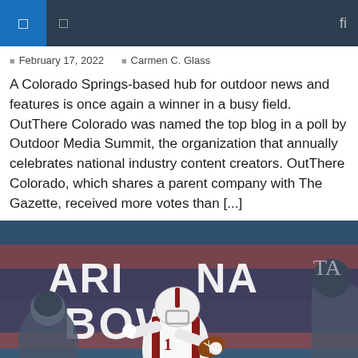Navigation bar
February 17, 2022  |  Carmen C. Glass
A Colorado Springs-based hub for outdoor news and features is once again a winner in a busy field. OutThere Colorado was named the top blog in a poll by Outdoor Media Summit, the organization that annually celebrates national industry content creators. OutThere Colorado, which shares a parent company with The Gazette, received more votes than [...]
[Figure (photo): Football player in white uniform carrying the ball at the Arizona Bowl, with 'ARIZONA BOWL' signage in background]